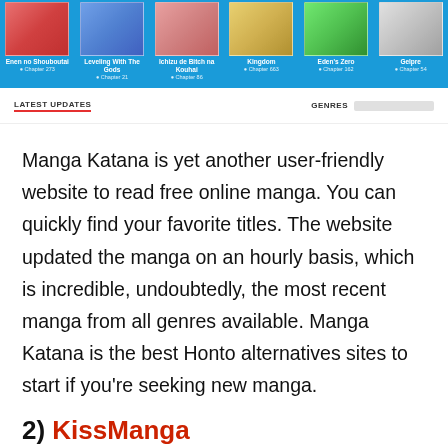[Figure (screenshot): Screenshot of Manga Katana website showing a blue navigation bar with manga thumbnails and titles including 'Enen no Shouboutai', 'Leveling With The Gods', 'Ichizu de Bitch na Kouhai', 'Kingdom', 'Eden's Zero', 'Gelpre', each with chapter numbers]
LATEST UPDATES
GENRES
Manga Katana is yet another user-friendly website to read free online manga. You can quickly find your favorite titles. The website updated the manga on an hourly basis, which is incredible, undoubtedly, the most recent manga from all genres available. Manga Katana is the best Honto alternatives sites to start if you're seeking new manga.
2) KissManga
[Figure (screenshot): Bottom portion of a dark-themed website screenshot, partially visible]